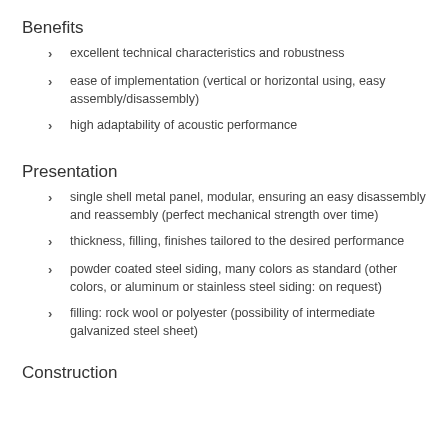Benefits
excellent technical characteristics and robustness
ease of implementation (vertical or horizontal using, easy assembly/disassembly)
high adaptability of acoustic performance
Presentation
single shell metal panel, modular, ensuring an easy disassembly and reassembly (perfect mechanical strength over time)
thickness, filling, finishes tailored to the desired performance
powder coated steel siding, many colors as standard (other colors, or aluminum or stainless steel siding: on request)
filling: rock wool or polyester (possibility of intermediate galvanized steel sheet)
Construction